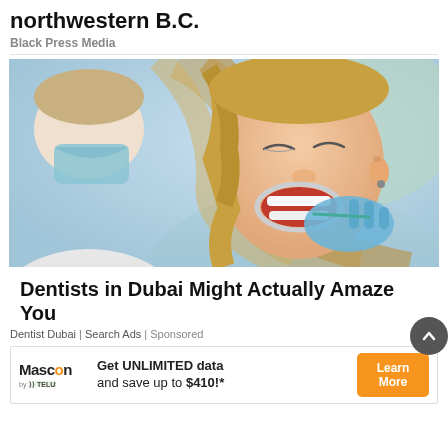northwestern B.C.
Black Press Media
[Figure (photo): A young woman with long blonde hair sitting in a dental chair with her mouth open held by a cheek retractor, while a masked dental professional examines her teeth with gloved blue hands.]
Dentists in Dubai Might Actually Amaze You
Dentist Dubai | Search Ads | Sponsored
[Figure (infographic): Mascon by TELUS banner advertisement: Get UNLIMITED data and save up to $410!* with a Learn More button]